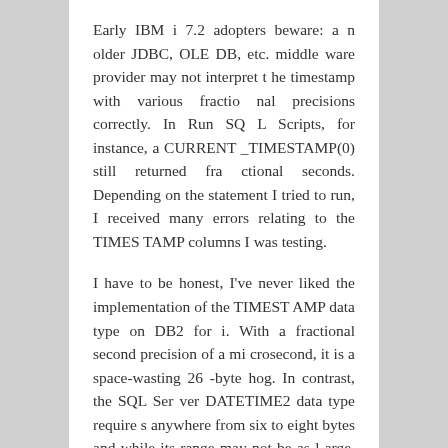Early IBM i 7.2 adopters beware: an older JDBC, OLE DB, etc. middleware provider may not interpret the timestamp with various fractional precisions correctly. In Run SQL Scripts, for instance, a CURRENT_TIMESTAMP(0) still returned fractional seconds. Depending on the statement I tried to run, I received many errors relating to the TIMESTAMP columns I was testing.
I have to be honest, I've never liked the implementation of the TIMESTAMP data type on DB2 for i. With a fractional second precision of a microsecond, it is a space-wasting 26-byte hog. In contrast, the SQL Server DATETIME2 data type requires anywhere from six to eight bytes and while its range may not be as large, its usefulness suits the vast m